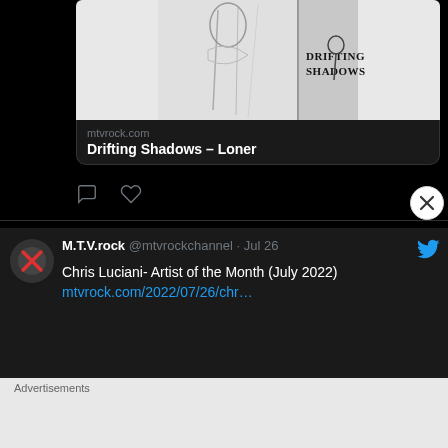[Figure (screenshot): Comic book preview image with sketch artwork and 'Drifting Shadows' text]
mtvrock.com
Drifting Shadows – Loner
[Figure (screenshot): Tweet action icons: comment bubble and heart/like]
M.T.V.rock @mtvrockchannel · Jul 26
Chris Luciani- Artist of the Month (July 2022) mtvrock.com/2022/07/26/chr…
[Figure (screenshot): Blue-grey image preview at bottom of tweet]
Advertisements
[Figure (photo): DuckDuckGo advertisement banner: Search, browse, and email with more privacy. All in One Free App. Shows phone mockup with DuckDuckGo logo.]